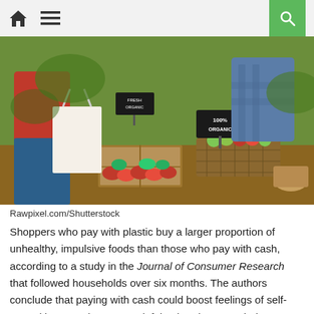navigation bar with home icon, hamburger menu, and search button
[Figure (photo): Farmers market scene with people shopping, baskets of fresh produce including red and green peppers, apples, and other vegetables, with a '100% ORGANIC' sign visible.]
Rawpixel.com/Shutterstock
Shoppers who pay with plastic buy a larger proportion of unhealthy, impulsive foods than those who pay with cash, according to a study in the Journal of Consumer Research that followed households over six months. The authors conclude that paying with cash could boost feelings of self-control because it's more painful to hand over cash than to swipe a card. Check out some more tricks from people who are really